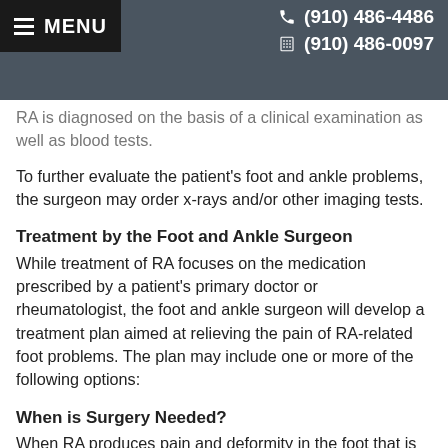MENU  (910) 486-4486  (910) 486-0097
RA is diagnosed on the basis of a clinical examination as well as blood tests.
To further evaluate the patient's foot and ankle problems, the surgeon may order x-rays and/or other imaging tests.
Treatment by the Foot and Ankle Surgeon
While treatment of RA focuses on the medication prescribed by a patient's primary doctor or rheumatologist, the foot and ankle surgeon will develop a treatment plan aimed at relieving the pain of RA-related foot problems. The plan may include one or more of the following options:
When is Surgery Needed?
When RA produces pain and deformity in the foot that is not relieved through other treatments, surgery may be required. The foot a... select the